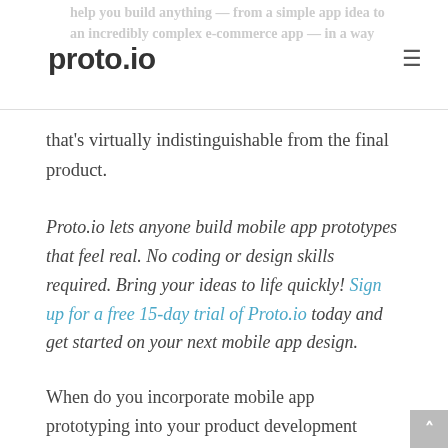help you build anything — from a simple app idea to an incredibly complex e-commerce app — in a way
proto.io
that's virtually indistinguishable from the final product.
Proto.io lets anyone build mobile app prototypes that feel real. No coding or design skills required. Bring your ideas to life quickly! Sign up for a free 15-day trial of Proto.io today and get started on your next mobile app design.
When do you incorporate mobile app prototyping into your product development cycle? Let us know